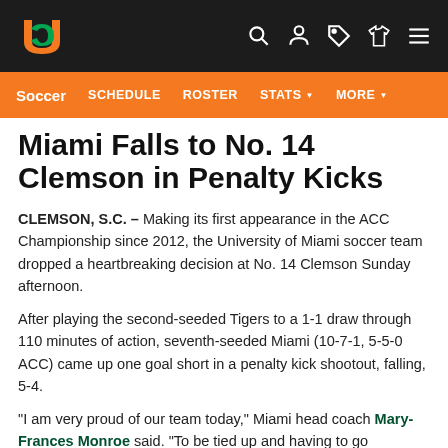University of Miami Athletics navigation bar with logo and icons
Soccer  SCHEDULE  ROSTER  STATS  MORE
Miami Falls to No. 14 Clemson in Penalty Kicks
CLEMSON, S.C. – Making its first appearance in the ACC Championship since 2012, the University of Miami soccer team dropped a heartbreaking decision at No. 14 Clemson Sunday afternoon.
After playing the second-seeded Tigers to a 1-1 draw through 110 minutes of action, seventh-seeded Miami (10-7-1, 5-5-0 ACC) came up one goal short in a penalty kick shootout, falling, 5-4.
"I am very proud of our team today," Miami head coach Mary-Frances Monroe said. "To be tied up and having to go